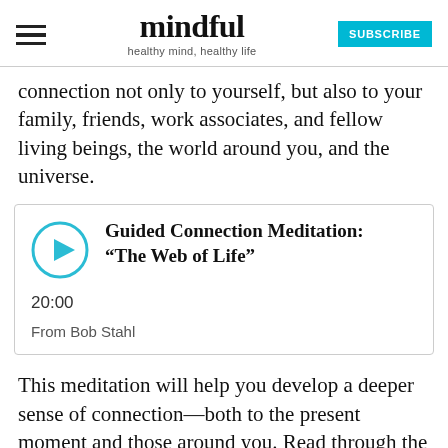mindful — healthy mind, healthy life — SUBSCRIBE
connection not only to yourself, but also to your family, friends, work associates, and fellow living beings, the world around you, and the universe.
[Figure (other): Audio player box with play button, title 'Guided Connection Meditation: "The Web of Life"', duration 20:00, from Bob Stahl]
This meditation will help you develop a deeper sense of connection—both to the present moment and those around you. Read through the entire script first to familiarize yourself with the practice